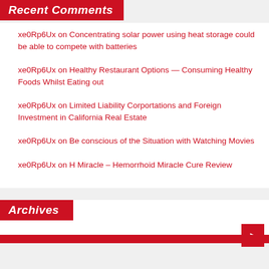Recent Comments
xe0Rp6Ux on Concentrating solar power using heat storage could be able to compete with batteries
xe0Rp6Ux on Healthy Restaurant Options — Consuming Healthy Foods Whilst Eating out
xe0Rp6Ux on Limited Liability Corportations and Foreign Investment in California Real Estate
xe0Rp6Ux on Be conscious of the Situation with Watching Movies
xe0Rp6Ux on H Miracle – Hemorrhoid Miracle Cure Review
Archives